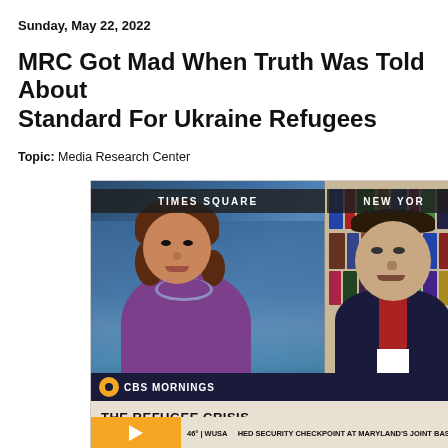Sunday, May 22, 2022
MRC Got Mad When Truth Was Told About Standard For Ukraine Refugees
Topic: Media Research Center
[Figure (screenshot): Screenshot of CBS Mornings TV broadcast showing anchor in purple top in split screen with a man in a suit against a bookshelf background. Lower thirds show 'TIMES SQUARE' and 'NEW YOR[K]' location banners, 'CBS MORNINGS' branding, 'THE REFUGEE CRISIS' headline, and 'INT'L RESCUE COMMITTEE LEADER ON UKRAINE & OTHER REFUGE[ES]' subtext. Play button overlay visible.]